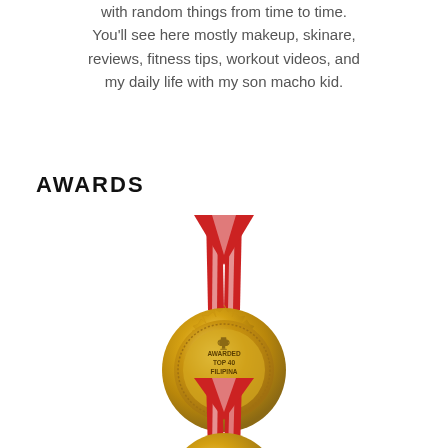with random things from time to time. You'll see here mostly makeup, skinare, reviews, fitness tips, workout videos, and my daily life with my son macho kid.
AWARDS
[Figure (illustration): Gold medal with red and white ribbon. Text on medal reads: AWARDED TOP 40 FILIPINA BEAUTY BLOGGER. Trophy icon at top of medal.]
[Figure (illustration): Partial view of a second gold medal with red and white ribbon, cropped at bottom of page.]